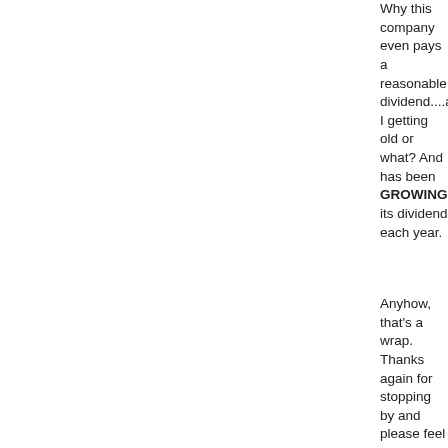Why this company even pays a reasonable dividend....am I getting old or what? And has been GROWING its dividend each year.
Anyhow, that's a wrap. Thanks again for stopping by and please feel free to email me with